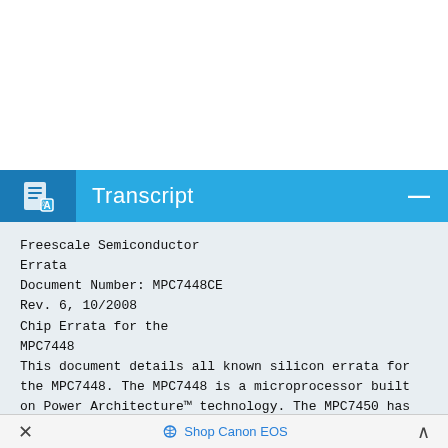[Figure (screenshot): Transcript UI panel header bar with icon and minimize button, blue background]
Freescale Semiconductor
Errata
Document Number: MPC7448CE
Rev. 6, 10/2008
Chip Errata for the MPC7448
This document details all known silicon errata for the MPC7448. The MPC7448 is a microprocessor built on Power Architecture™ technology. The MPC7450 has the same functionality as the MPC7448 and any differences are detailed in the document. Table 1 provides a revision history for this chip errata
× Shop Canon EOS ^